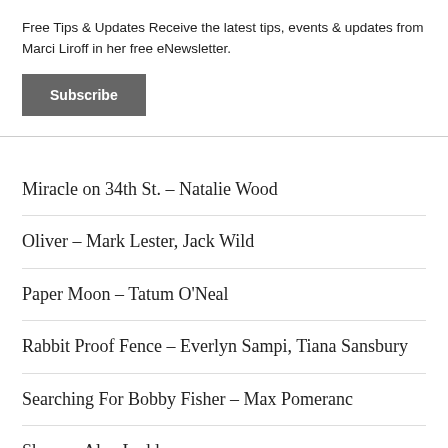Free Tips & Updates Receive the latest tips, events & updates from Marci Liroff in her free eNewsletter.
Subscribe
Miracle on 34th St. – Natalie Wood
Oliver – Mark Lester, Jack Wild
Paper Moon – Tatum O'Neal
Rabbit Proof Fence – Everlyn Sampi, Tiana Sansbury
Searching For Bobby Fisher – Max Pomeranc
Shane – Alan Ladd